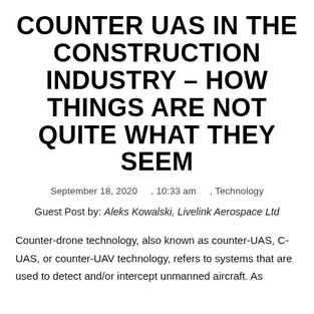COUNTER UAS IN THE CONSTRUCTION INDUSTRY – HOW THINGS ARE NOT QUITE WHAT THEY SEEM
September 18, 2020     , 10:33 am     , Technology
Guest Post by: Aleks Kowalski, Livelink Aerospace Ltd
Counter-drone technology, also known as counter-UAS, C-UAS, or counter-UAV technology, refers to systems that are used to detect and/or intercept unmanned aircraft. As